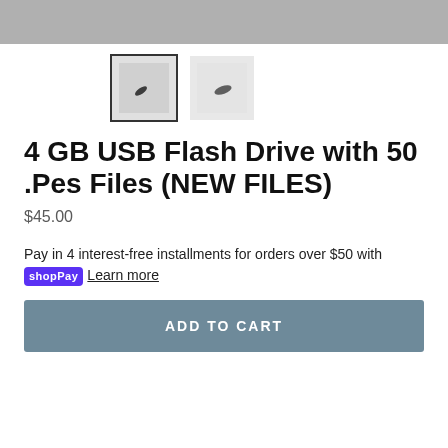[Figure (photo): Top gray banner area showing partial USB flash drive product image]
[Figure (photo): Two thumbnail images of USB flash drives: first with dark border selected, second without border]
4 GB USB Flash Drive with 50 .Pes Files (NEW FILES)
$45.00
Pay in 4 interest-free installments for orders over $50 with shopPay  Learn more
ADD TO CART